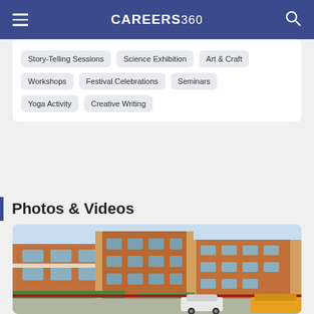CAREERS 360
Story-Telling Sessions
Science Exhibition
Art & Craft
Workshops
Festival Celebrations
Seminars
Yoga Activity
Creative Writing
Photos & Videos
[Figure (photo): Exterior view of a brick school/college building with a white car parked in front and greenery around, photographed on a clear day.]